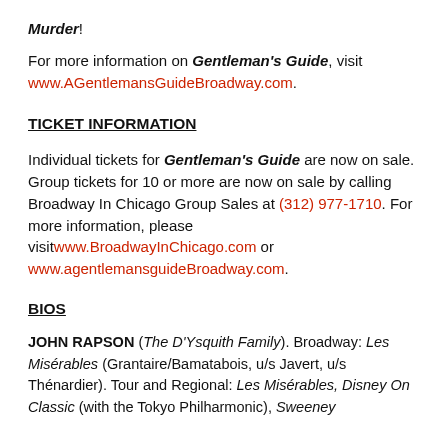Murder!
For more information on Gentleman's Guide, visit www.AGentlemansGuideBroadway.com.
TICKET INFORMATION
Individual tickets for Gentleman's Guide are now on sale.  Group tickets for 10 or more are now on sale by calling Broadway In Chicago Group Sales at (312) 977-1710. For more information, please visitwww.BroadwayInChicago.com or www.agentlemansguideBroadway.com.
BIOS
JOHN RAPSON (The D'Ysquith Family). Broadway: Les Misérables (Grantaire/Bamatabois, u/s Javert, u/s Thénardier). Tour and Regional: Les Misérables, Disney On Classic (with the Tokyo Philharmonic), Sweeney